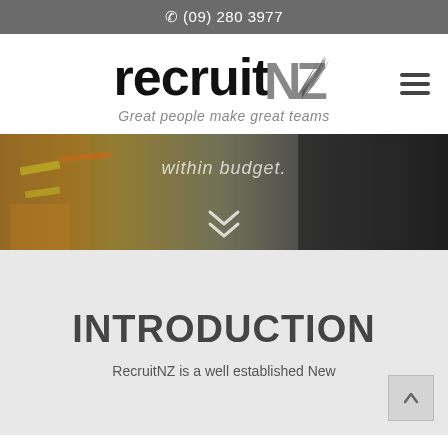☎ (09) 280 3977
[Figure (logo): RecruitNZ logo with fern motif and tagline 'Great people make great teams']
[Figure (photo): Hero banner photo showing construction workers in high-visibility vests, with overlaid text 'within budget.' and double chevron down arrow]
INTRODUCTION
RecruitNZ is a well established New